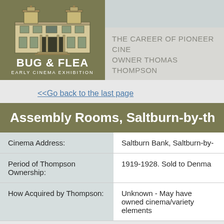[Figure (logo): Bug & Flea Early Cinema Exhibition logo with line drawing of a historic building above the text]
THE CAREER OF PIONEER CINEMA OWNER THOMAS THOMPSON
<<Go back to the last page
Assembly Rooms, Saltburn-by-th
| Cinema Address: | Saltburn Bank, Saltburn-by- |
| Period of Thompson Ownership: | 1919-1928. Sold to Denma |
| How Acquired by Thompson: | Unknown - May have owned cinema/variety elements |